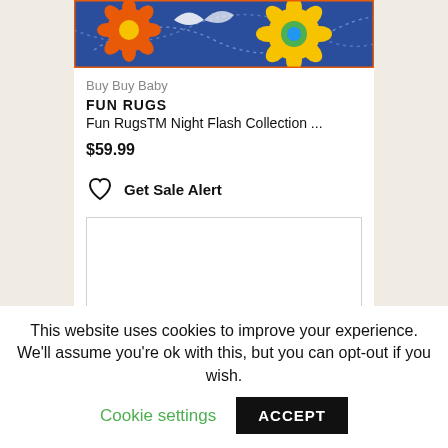[Figure (photo): Colorful rug with floral pattern on blue background, showing orange and yellow flowers with dotted swirl patterns.]
Buy Buy Baby
FUN RUGS
Fun RugsTM Night Flash Collection ...
$59.99
Get Sale Alert
[Figure (other): Empty white product card placeholder with light gray border.]
This website uses cookies to improve your experience. We'll assume you're ok with this, but you can opt-out if you wish.
Cookie settings
ACCEPT